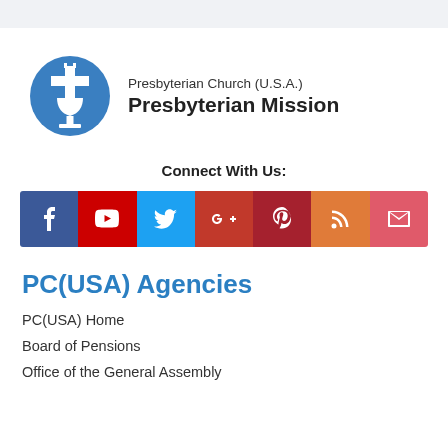[Figure (logo): Presbyterian Church (U.S.A.) Presbyterian Mission logo — blue circle with white cross/chalice symbol, next to text 'Presbyterian Church (U.S.A.) Presbyterian Mission']
Connect With Us:
[Figure (infographic): Social media icon bar with 7 colored buttons: Facebook (dark blue), YouTube (red), Twitter (light blue), Google+ (dark red), Pinterest (dark red), RSS (orange), Email (pink-red)]
PC(USA) Agencies
PC(USA) Home
Board of Pensions
Office of the General Assembly